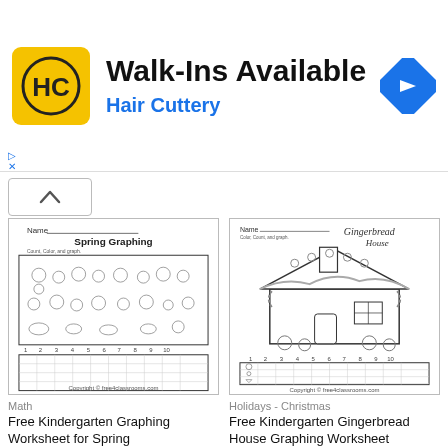[Figure (advertisement): Hair Cuttery advertisement banner with yellow HC logo, 'Walk-Ins Available' headline, 'Hair Cuttery' subheading in blue, and blue navigation arrow icon]
[Figure (illustration): Spring Graphing kindergarten worksheet thumbnail showing spring creatures (butterflies, flowers, snails, mushrooms) and a bar graph grid below]
Math
Free Kindergarten Graphing Worksheet for Spring
[Figure (illustration): Gingerbread House Graphing kindergarten worksheet thumbnail showing a gingerbread house and a bar graph grid below]
Holidays - Christmas
Free Kindergarten Gingerbread House Graphing Worksheet